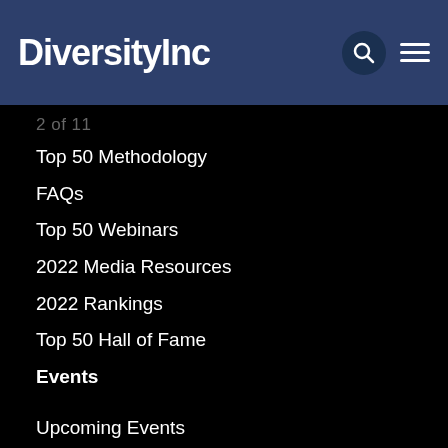DiversityInc
2 of 11
Top 50 Methodology
FAQs
Top 50 Webinars
2022 Media Resources
2022 Rankings
Top 50 Hall of Fame
Events
Upcoming Events
Webinars
Best Practices
Membership
Job Board
[Figure (other): Accessibility widget icons: wheelchair symbol, arrow, monitor/screen symbol inside a rounded pill-shaped border]